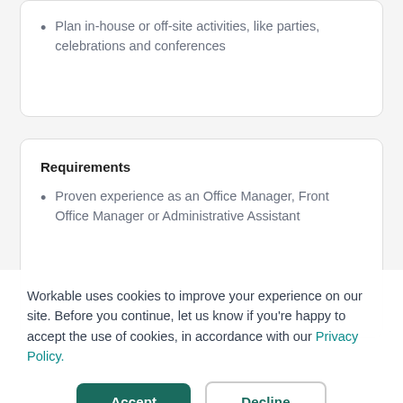Plan in-house or off-site activities, like parties, celebrations and conferences
Requirements
Proven experience as an Office Manager, Front Office Manager or Administrative Assistant
Workable uses cookies to improve your experience on our site. Before you continue, let us know if you're happy to accept the use of cookies, in accordance with our Privacy Policy.